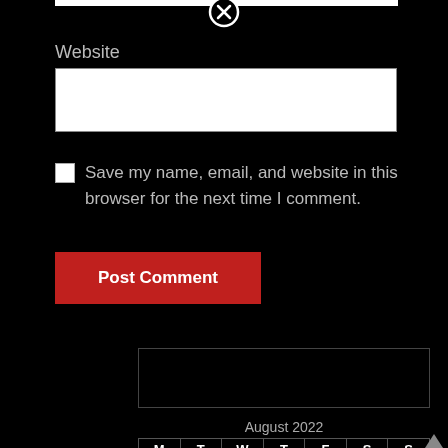[Figure (other): Close/cancel icon (circled X) at top center]
Website
[Figure (other): White input text field for Website]
Save my name, email, and website in this browser for the next time I comment.
[Figure (other): Red Post Comment button]
[Figure (other): Empty text/search input box]
| M | T | W | T | F | S | S |
| --- | --- | --- | --- | --- | --- | --- |
| 1 | 2 | 3 | ⊗ | 5 | 6 | 7 |
August 2022